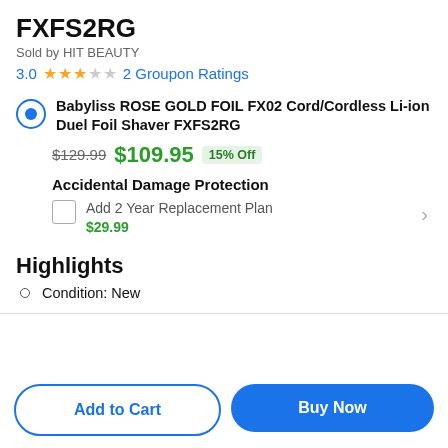FXFS2RG
Sold by HIT BEAUTY
3.0 ★★★☆☆ 2 Groupon Ratings
Babyliss ROSE GOLD FOIL FX02 Cord/Cordless Li-ion Duel Foil Shaver FXFS2RG
$129.99 $109.95 15% Off
Accidental Damage Protection
Add 2 Year Replacement Plan $29.99
Highlights
Condition: New
Add to Cart | Buy Now